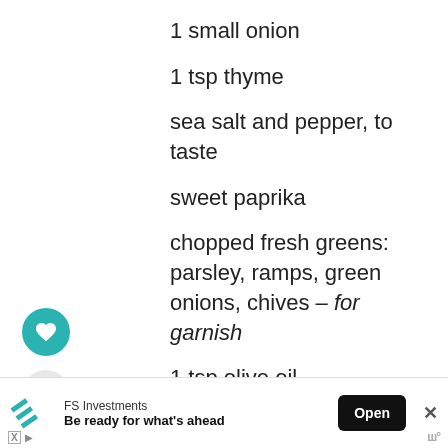1 small onion
1 tsp thyme
sea salt and pepper, to taste
sweet paprika
chopped fresh greens: parsley, ramps, green onions, chives – for garnish
1 tsp olive oil
[Figure (screenshot): Mobile app UI screenshot showing recipe ingredient list with heart favorite button, share button, pagination dots, and FS Investments advertisement banner at bottom with Open button and close X button.]